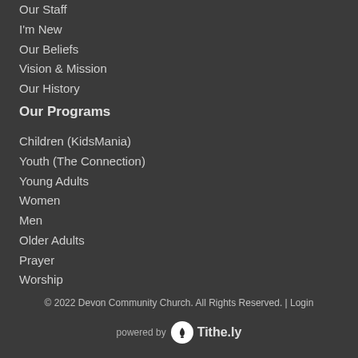Our Staff
I'm New
Our Beliefs
Vision & Mission
Our History
Our Programs
Children (KidsMania)
Youth (The Connection)
Young Adults
Women
Men
Older Adults
Prayer
Worship
© 2022 Devon Community Church. All Rights Reserved. | Login
powered by Tithe.ly